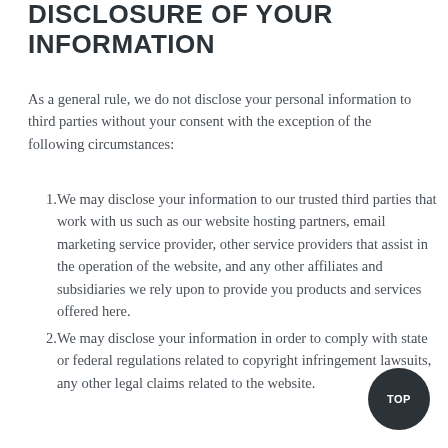DISCLOSURE OF YOUR INFORMATION
As a general rule, we do not disclose your personal information to third parties without your consent with the exception of the following circumstances:
We may disclose your information to our trusted third parties that work with us such as our website hosting partners, email marketing service provider, other service providers that assist in the operation of the website, and any other affiliates and subsidiaries we rely upon to provide you products and services offered here.
We may disclose your information in order to comply with state or federal regulations related to copyright infringement lawsuits, any other legal claims related to the website.